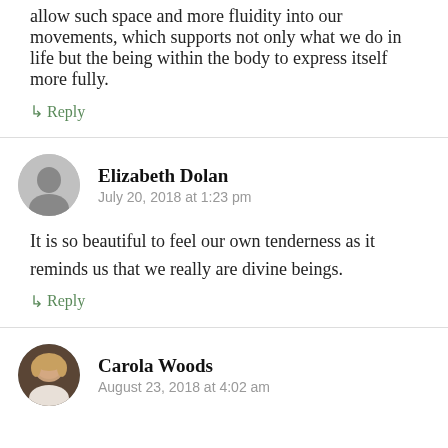allow such space and more fluidity into our movements, which supports not only what we do in life but the being within the body to express itself more fully.
↳ Reply
Elizabeth Dolan
July 20, 2018 at 1:23 pm
It is so beautiful to feel our own tenderness as it reminds us that we really are divine beings.
↳ Reply
Carola Woods
August 23, 2018 at 4:02 am